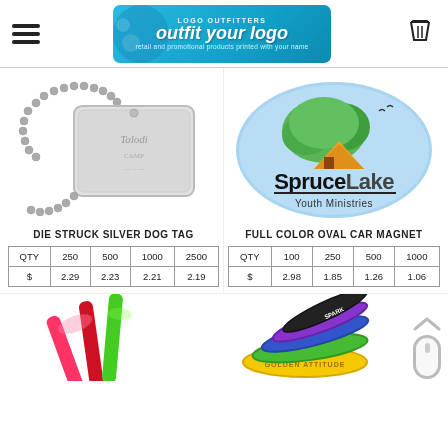Logo Outfitters - outfit your logo - retail and promotional products printed with your name
[Figure (photo): Die struck silver dog tag with chain, engraved with camp/school logo]
[Figure (photo): Full color oval car magnet with Spruce Lake Youth Ministries logo - oval shaped sticker with tree and tent illustration]
DIE STRUCK SILVER DOG TAG
FULL COLOR OVAL CAR MAGNET
| QTY | 250 | 500 | 1000 | 2500 |
| --- | --- | --- | --- | --- |
| $ | 2.29 | 2.23 | 2.21 | 2.19 |
| QTY | 100 | 250 | 500 | 1000 |
| --- | --- | --- | --- | --- |
| $ | 2.98 | 1.85 | 1.26 | 1.06 |
[Figure (photo): Colorful glow sticks / light-up sticks in pink, red, green colors]
[Figure (photo): Silicone wristbands/bracelets in yellow, green, blue, black colors with text including 'Golden Attitude' and 'Spark']